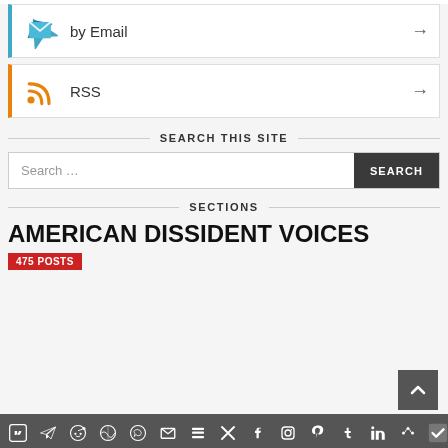by Email →
RSS →
SEARCH THIS SITE
Search …
SECTIONS
AMERICAN DISSIDENT VOICES
475 POSTS
Social share bar icons